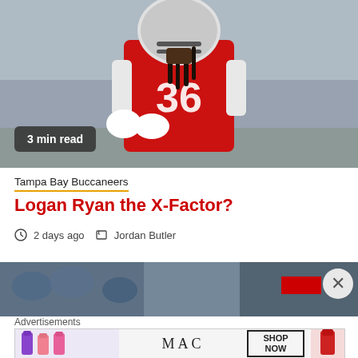[Figure (photo): Football player in red jersey number 36 running on field, wearing white helmet with dreadlocks, during practice]
3 min read
Tampa Bay Buccaneers
Logan Ryan the X-Factor?
2 days ago  Jordan Butler
[Figure (photo): Partial view of a sports crowd/stadium photo, with a red bar overlay and close (X) button]
Advertisements
[Figure (other): MAC cosmetics advertisement showing colorful lipsticks and SHOP NOW button]